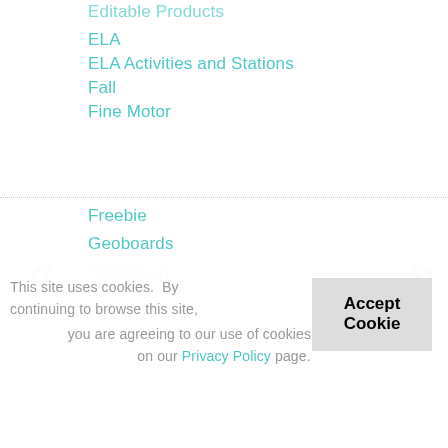Editable Products
ELA
ELA Activities and Stations
Fall
Fine Motor
Freebie
Geoboards
Halloween
This site uses cookies.  By continuing to browse this site, you are agreeing to our use of cookies read more on our Privacy Policy page.